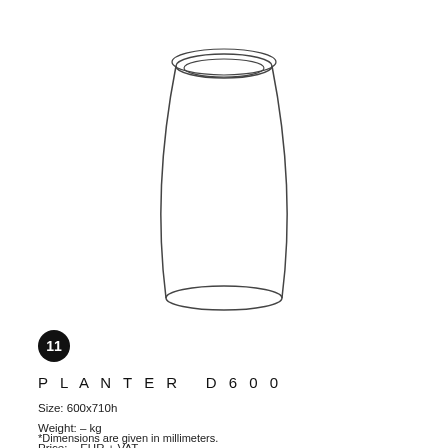[Figure (illustration): Line drawing / schematic of a planter pot (PLANTER D600) shown in isometric-style outline. The pot is tapered wider at the top than the bottom, with an elliptical rim at the top showing inner and outer lines.]
11
PLANTER D600
Size: 600x710h
Weight: – kg
Price: – EUR + VAT
*Dimensions are given in millimeters.